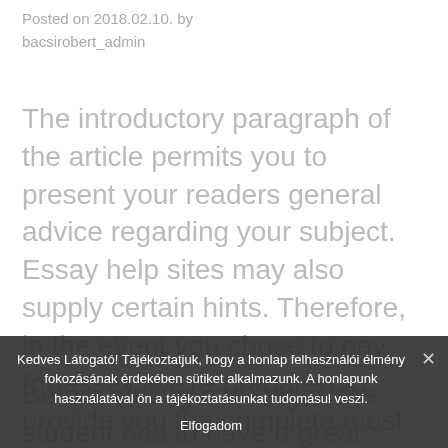Posted on 2018.02.10. by bacsirobert_admin
The introductory paragraph of the article permits you to present your readers general advice regarding your subject. Essay help sites may also supply certain hints. Therefore, in the event you chose to pay for essay, we're prepared to provide you the complete most advantageous terms! A descriptive essay will center on describing major issues.
Before writing can begin, the student has to have a great general comprehension of
Kedves Látogató! Tájékoztatjuk, hogy a honlap felhasználói élmény fokozásának érdekében sütiket alkalmazunk. A honlapunk használatával ön a tájékoztatásunkat tudomásul veszi. Elfogadom